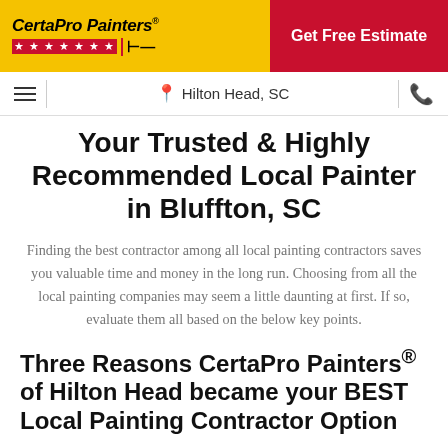[Figure (logo): CertaPro Painters logo on yellow background with red stars and paintbrush icon]
Get Free Estimate
☰  |  📍 Hilton Head, SC  |  📞
Your Trusted & Highly Recommended Local Painter in Bluffton, SC
Finding the best contractor among all local painting contractors saves you valuable time and money in the long run. Choosing from all the local painting companies may seem a little daunting at first. If so, evaluate them all based on the below key points.
Three Reasons CertaPro Painters® of Hilton Head became your BEST Local Painting Contractor Option